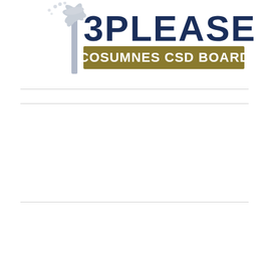[Figure (logo): 3PLEASE / Cosumnes CSD Board logo with stylized palm tree in grey and text '3PLEASE' in dark navy blue bold letters, below a gold/olive rectangular banner reading 'COSUMNES CSD BOARD' in white bold letters]